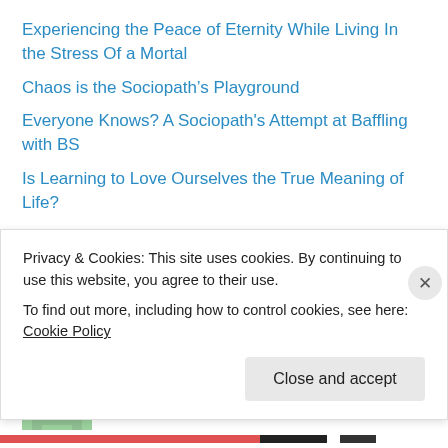Experiencing the Peace of Eternity While Living In the Stress Of a Mortal
Chaos is the Sociopath’s Playground
Everyone Knows? A Sociopath's Attempt at Baffling with BS
Is Learning to Love Ourselves the True Meaning of Life?
Why do we admire and support toxic people?
Recent Comments
Ariele M. Huff on Men Without Scars
Ariele M. Huff on The No Complaints Challenge
Privacy & Cookies: This site uses cookies. By continuing to use this website, you agree to their use. To find out more, including how to control cookies, see here: Cookie Policy